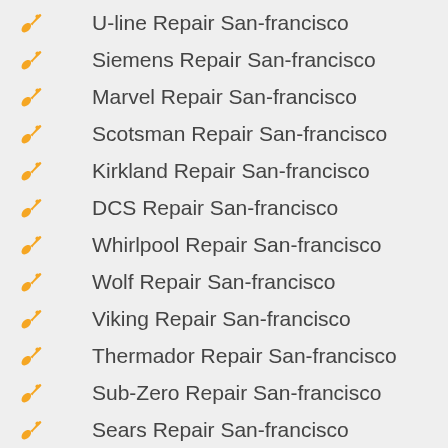U-line Repair San-francisco
Siemens Repair San-francisco
Marvel Repair San-francisco
Scotsman Repair San-francisco
Kirkland Repair San-francisco
DCS Repair San-francisco
Whirlpool Repair San-francisco
Wolf Repair San-francisco
Viking Repair San-francisco
Thermador Repair San-francisco
Sub-Zero Repair San-francisco
Sears Repair San-francisco
Samsung Repair San-francisco
Maytag Repair San-francisco